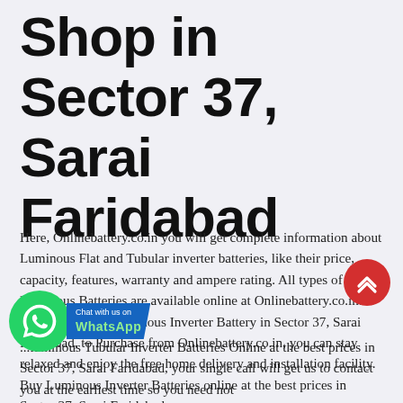Shop in Sector 37, Sarai Faridabad
Here, Onlinebattery.co.in you will get complete information about Luminous Flat and Tubular inverter batteries, like their price, capacity, features, warranty and ampere rating. All types of Luminous Batteries are available online at Onlinebattery.co.in. If you wish to buy Luminous Inverter Battery in Sector 37, Sarai Faridabad, to Purchase from Onlinebattery.co.in, you can stay relaxed and enjoy the free home delivery and installation facility. Buy Luminous Inverter Batteries online at the best prices in Sector 37, Sarai Faridabad.
[Figure (other): WhatsApp Chat button with green circle icon and blue banner saying 'Chat with us on WhatsApp']
[Figure (other): Red circular scroll-to-top button with double chevron up arrow]
...luminous Tubular Inverter Batteries Online at the best prices in Sector 37, Sarai Faridabad, your single call will get us to contact you at the earliest time so you need not